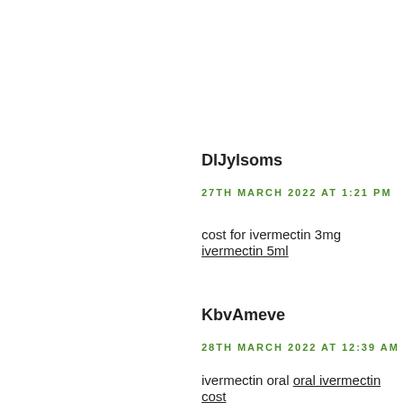DlJylsoms
27TH MARCH 2022 AT 1:21 PM
cost for ivermectin 3mg ivermectin 5ml
KbvAmeve
28TH MARCH 2022 AT 12:39 AM
ivermectin oral oral ivermectin cost
RkJlsoms